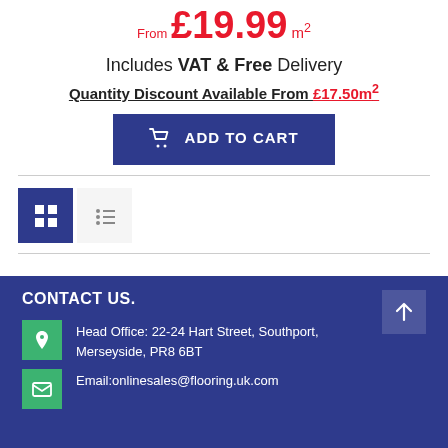From £19.99 m²
Includes VAT & Free Delivery
Quantity Discount Available From £17.50m²
ADD TO CART
[Figure (other): Grid view and list view toggle icons]
CONTACT US.
Head Office: 22-24 Hart Street, Southport, Merseyside, PR8 6BT
Email:onlinesales@flooring.uk.com